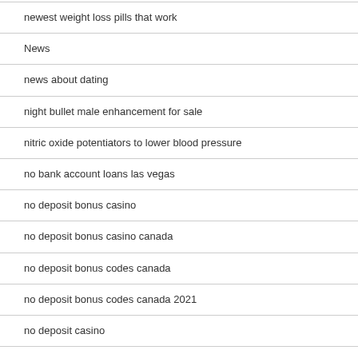newest weight loss pills that work
News
news about dating
night bullet male enhancement for sale
nitric oxide potentiators to lower blood pressure
no bank account loans las vegas
no deposit bonus casino
no deposit bonus casino canada
no deposit bonus codes canada
no deposit bonus codes canada 2021
no deposit casino